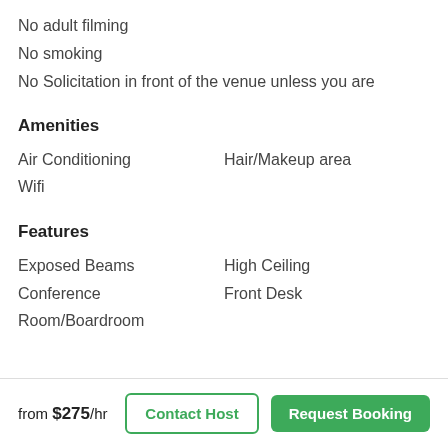No adult filming
No smoking
No Solicitation in front of the venue unless you are
Amenities
Air Conditioning
Hair/Makeup area
Wifi
Features
Exposed Beams
High Ceiling
Conference
Front Desk
Room/Boardroom
from $275/hr
Contact Host
Request Booking